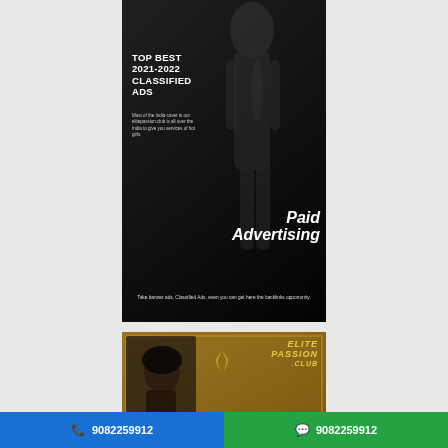[Figure (photo): Dark background classified ads promotional banner with silhouette figure, text: TOP BEST 2021-2022 CLASSIFIED ADS, Paid Advertising, Take banner ads, Classified Ads, even you can get here the backlinks opportunity.]
[Figure (photo): Bronze/gold background Elite Passion Club promotional banner with partial female figure and Diva text.]
9082259912
9082259912